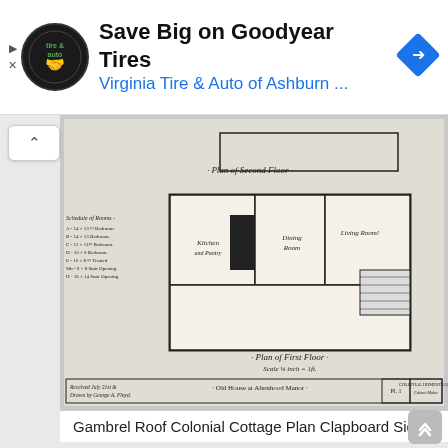[Figure (screenshot): Advertisement banner for Virginia Tire & Auto of Ashburn featuring Goodyear Tires promotion. Contains circular tire & auto logo on black background, bold text 'Save Big on Goodyear Tires', blue subtitle 'Virginia Tire & Auto of Ashburn ...', and a blue navigation/direction diamond icon on the right. Small play and X icons on the far left.]
[Figure (engineering-diagram): Architectural floor plan drawings showing Plan of Second Floor and Plan of First Floor with scale 1/8 inch = 1ft. Rooms labeled include Kitchen, Dining Room, and Living Room. Schedule of Rooms listed on the left side. Title at bottom reads 'Old House at Altenhood Manor'. Drawn by George A. Floyd, Received July 21st.]
Gambrel Roof Colonial Cottage Plan Clapboard Siding
3. Gambrel Cabin Plans